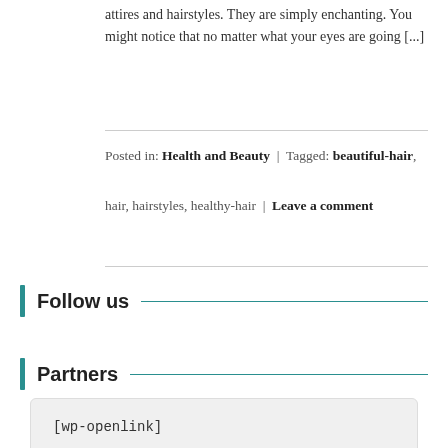attires and hairstyles. They are simply enchanting. You might notice that no matter what your eyes are going [...]
Posted in: Health and Beauty  |  Tagged: beautiful-hair, hair, hairstyles, healthy-hair  |  Leave a comment
Follow us
Partners
[wp-openlink]